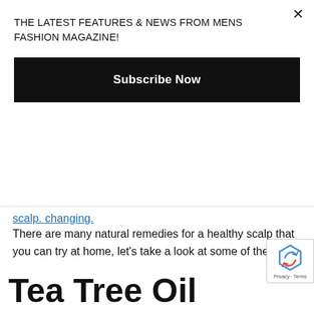THE LATEST FEATURES & NEWS FROM MENS FASHION MAGAZINE!
Subscribe Now
scalp. changing.
There are many natural remedies for a healthy scalp that you can try at home, let's take a look at some of them.
Tea Tree Oil
Tea tree oil has strong antifungal and antiseptic properties and is a lifeline ingredient for people experiencing dandruff. It is extremely helpful in relieving dryness and itching in your scalp. Multiple studies like this one confirm that using tea tree oil for at least 4 weeks can reduce dandruff up to 41%.
You can find many drugstore shampoos containing tea tree oil,